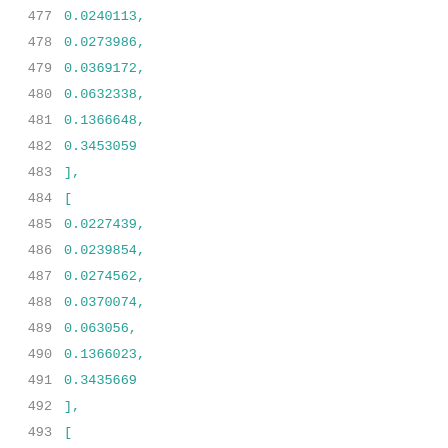477    0.0240113,
478    0.0273986,
479    0.0369172,
480    0.0632338,
481    0.1366648,
482    0.3453059
483 ],
484 [
485    0.0227439,
486    0.0239854,
487    0.0274562,
488    0.0370074,
489    0.063056,
490    0.1366023,
491    0.3435669
492 ],
493 [
494    0.0227537,
495    0.0239773,
496    0.0273771,
497    0.0369376,
498    0.0630415,...